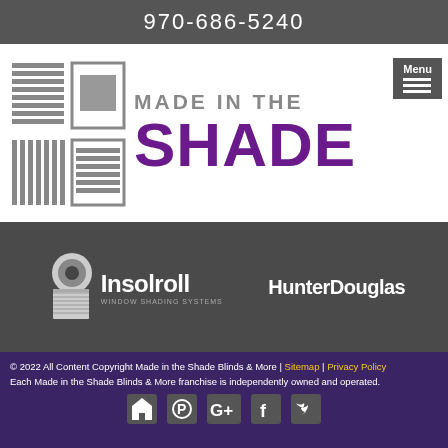970-686-5240
[Figure (logo): Made in the Shade Blinds logo with blind icon graphics on left and text 'MADE IN THE SHADE' on right, with a Menu button overlay]
[Figure (logo): Insolroll Window Shading Systems logo and HunterDouglas logo on dark gray background]
© 2022 All Content Copyright Made in the Shade Blinds & More | Sitemap | Privacy Policy
Each Made in the Shade Blinds & More franchise is independently owned and operated.